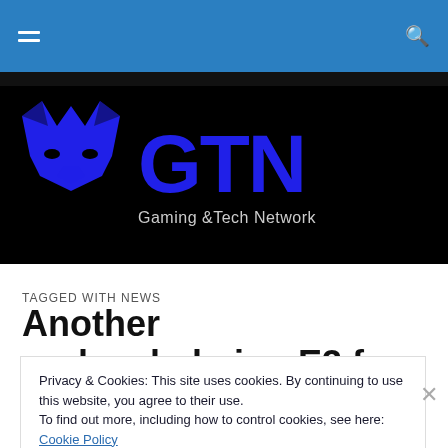GTN Gaming & Tech Network — navigation bar
[Figure (logo): GTN Gaming & Tech Network logo — blue wolf/fox icon and blue GTN letters on black background with subtitle 'Gaming &Tech Network']
TAGGED WITH NEWS
Another underwhelming E3 for
Privacy & Cookies: This site uses cookies. By continuing to use this website, you agree to their use.
To find out more, including how to control cookies, see here: Cookie Policy
Close and accept